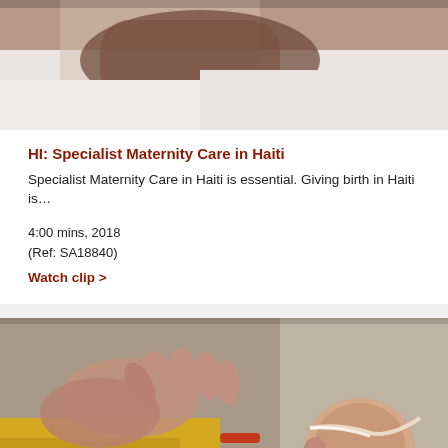[Figure (photo): Close-up photo of a pregnant woman in white clothing, top portion of card]
HI: Specialist Maternity Care in Haiti
Specialist Maternity Care in Haiti is essential. Giving birth in Haiti is…
4:00 mins, 2018
(Ref: SA18840)
Watch clip >
[Figure (photo): Close-up photo of hands tending to a newborn baby with medical tubes, baby wearing yellow and peach clothing]